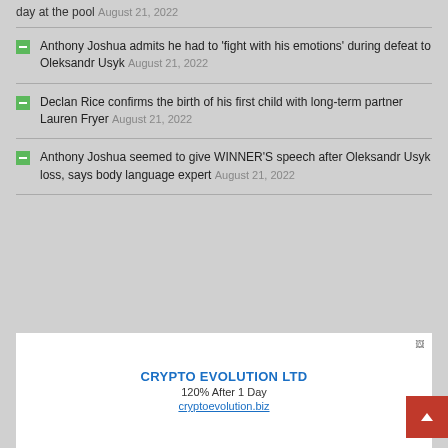day at the pool August 21, 2022
Anthony Joshua admits he had to 'fight with his emotions' during defeat to Oleksandr Usyk August 21, 2022
Declan Rice confirms the birth of his first child with long-term partner Lauren Fryer August 21, 2022
Anthony Joshua seemed to give WINNER'S speech after Oleksandr Usyk loss, says body language expert August 21, 2022
[Figure (other): Advertisement box for CRYPTO EVOLUTION LTD showing 120% After 1 Day and link cryptoevolution.biz]